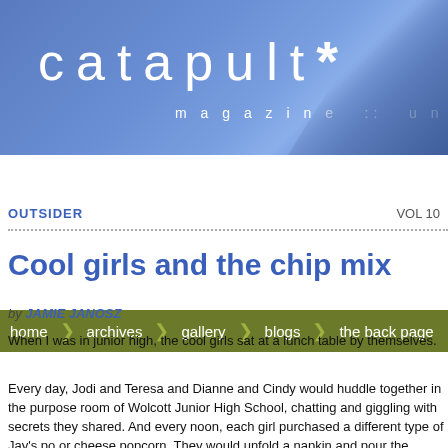[Figure (other): Catapult Magazine header banner with logo text 'catapult*' and tagline 'magazine :: unite . learn . ser']
home   archives   gallery   blogs   the back page
OUTSIDER
VOL 10
Cool girls and the chip mix
by JAMIE JANOSZ
When I was in junior high, the cool girls sat at a lunch table by themselves.
Every day, Jodi and Teresa and Dianne and Cindy would huddle together in the purpose room of Wolcott Junior High School, chatting and giggling with secrets they shared. And every noon, each girl purchased a different type of Jay's popcorn or cheese popcorn. They would unfold a napkin and pour the contents into